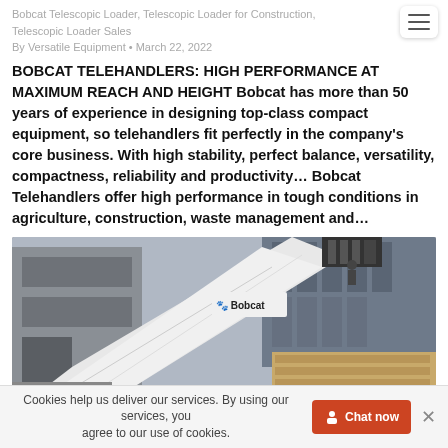Bobcat Telescopic Loader, Telescopic Loader for Construction, Telescopic Loader Sales
By Versatile Equipment • March 22, 2022
BOBCAT TELEHANDLERS: HIGH PERFORMANCE AT MAXIMUM REACH AND HEIGHT Bobcat has more than 50 years of experience in designing top-class compact equipment, so telehandlers fit perfectly in the company's core business. With high stability, perfect balance, versatility, compactness, reliability and productivity… Bobcat Telehandlers offer high performance in tough conditions in agriculture, construction, waste management and…
[Figure (photo): A white Bobcat telehandler (telescopic loader) with extended arm carrying a load, positioned next to a construction building. The Bobcat brand logo is visible on the arm.]
Cookies help us deliver our services. By using our services, you agree to our use of cookies.